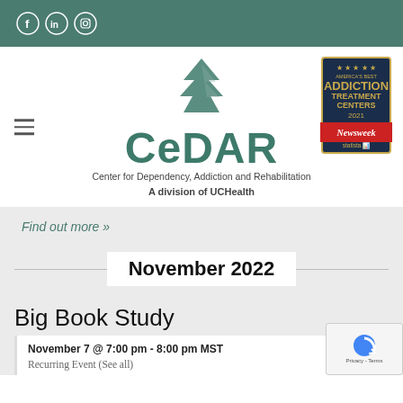Social media icons: Facebook, LinkedIn, Instagram
[Figure (logo): CeDAR logo with green pine tree above text 'CeDAR', subtitle 'Center for Dependency, Addiction and Rehabilitation A division of UCHealth', hamburger menu icon on left, Newsweek America's Best Addiction Treatment Centers 2021 badge on right]
Find out more »
November 2022
Big Book Study
November 7 @ 7:00 pm - 8:00 pm MST
Recurring Event (See all)